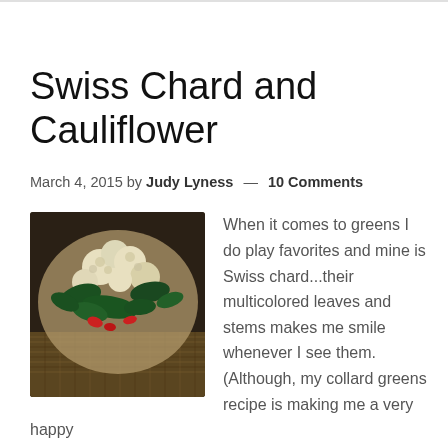Swiss Chard and Cauliflower
March 4, 2015 by Judy Lyness — 10 Comments
[Figure (photo): A plate of cooked Swiss chard and cauliflower dish with red peppers, served on a woven placemat]
When it comes to greens I do play favorites and mine is Swiss chard...their multicolored leaves and stems makes me smile whenever I see them. (Although, my collard greens recipe is making me a very happy camper of late.) Alas, it is winter and the selection is slim for fun flavor combos...or so I thought.  This spicy Swiss